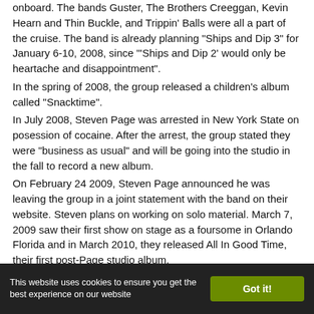onboard. The bands Guster, The Brothers Creeggan, Kevin Hearn and Thin Buckle, and Trippin' Balls were all a part of the cruise. The band is already planning "Ships and Dip 3" for January 6-10, 2008, since "'Ships and Dip 2' would only be heartache and disappointment".
In the spring of 2008, the group released a children's album called "Snacktime".
In July 2008, Steven Page was arrested in New York State on posession of cocaine. After the arrest, the group stated they were "business as usual" and will be going into the studio in the fall to record a new album.
On February 24 2009, Steven Page announced he was leaving the group in a joint statement with the band on their website. Steven plans on working on solo material. March 7, 2009 saw their first show on stage as a foursome in Orlando Florida and in March 2010, they released All In Good Time, their first post-Page studio album.
Side projects
Tyler Stewart, Jim Creeggan, Kevin Hearn, and Steven Page all have past or present side projects during their time off from
This website uses cookies to ensure you get the best experience on our website